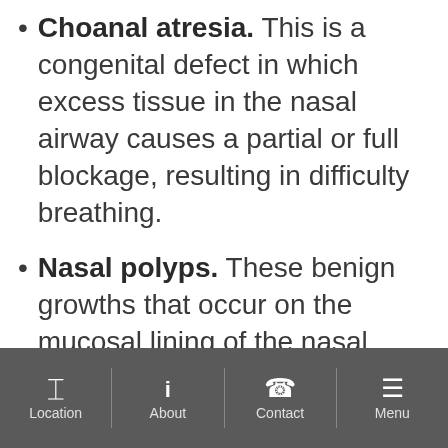Choanal atresia. This is a congenital defect in which excess tissue in the nasal airway causes a partial or full blockage, resulting in difficulty breathing.
Nasal polyps. These benign growths that occur on the mucosal lining of the nasal passages. They are typically small and though noncancerous can still cause obstructions of the sinuses, leading to congestion, breathing problems and sinus infections.
Location | About | Contact | Menu